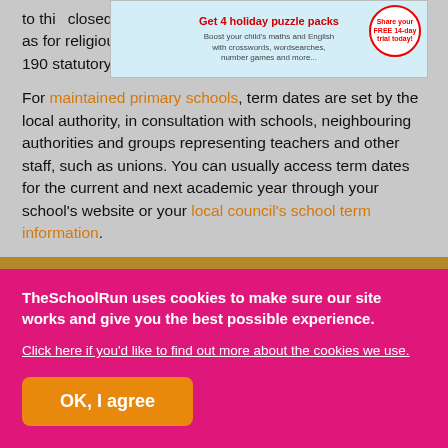to the closed (such as for religious festivals) as long as they don't eat into the 190 statutory pupil days.
[Figure (other): Advertisement banner: Get 4 holiday puzzle packs - Share your FREE 14-day trial today!]
For maintained primary schools, term dates are set by the local authority, in consultation with schools, neighbouring authorities and groups representing teachers and other staff, such as unions. You can usually access term dates for the current and next academic year through your school's website or your local council's school term information.
Why are there differences in term dates
TheSchoolRun uses cookies to make sure our site works and give you the best possible experience. Click here if you'd like to find out more about the cookies we use.